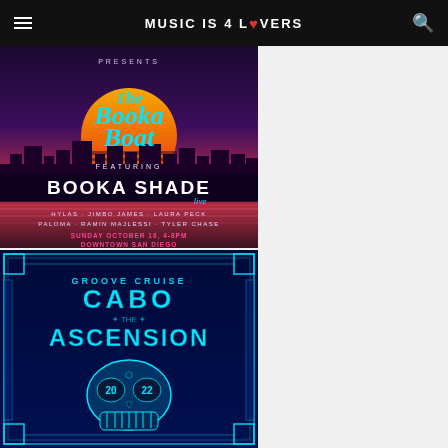MUSIC IS 4 LOVERS
[Figure (illustration): Event poster for 'The Booka Boat' featuring Booka Shade (live), with artists Hylas, Jimbo James, Laura Peck, Paloma, Ramin Majlessi, Tyler Chase. Sunday October 16, 4-8PM, Downtown San Diego. Retro synthwave style with sunset cityscape background, neon pink and cyan text.]
[Figure (illustration): Event poster for Groove Cruise Cabo 'The Ascension' 2022. Dark blue background with ornate cyan/teal Art Deco border design, sugar skull with '2022' in eye sockets, teal neon text.]